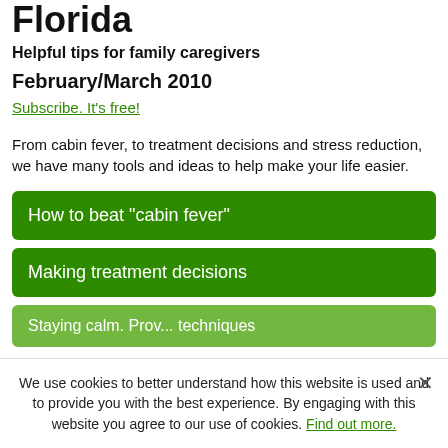Florida
Helpful tips for family caregivers
February/March 2010
Subscribe. It's free!
From cabin fever, to treatment decisions and stress reduction, we have many tools and ideas to help make your life easier.
How to beat "cabin fever"
Making treatment decisions
Staying calm. Prov... techniques
We use cookies to better understand how this website is used and to provide you with the best experience. By engaging with this website you agree to our use of cookies. Find out more.